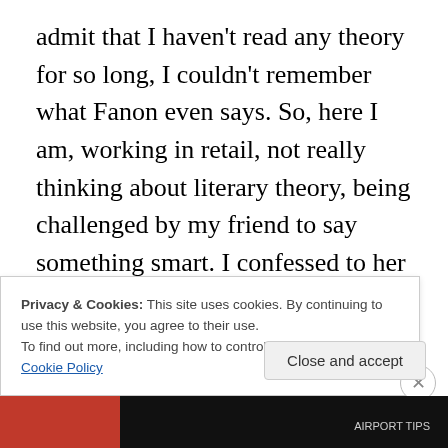admit that I haven't read any theory for so long, I couldn't remember what Fanon even says. So, here I am, working in retail, not really thinking about literary theory, being challenged by my friend to say something smart. I confessed to her that I hadn't thought that way in about three years, and that I'd have to have her send me a PDF of an article or a book title, so I can check out a book, to reread before I can even try to answer her question. That's pretty sad for me, since thinking theoretically is my jam and usually comes fairly easily for me. Writing theoretically has never been easy for me, but thinking that way is my
Privacy & Cookies: This site uses cookies. By continuing to use this website, you agree to their use.
To find out more, including how to control cookies, see here: Cookie Policy
Close and accept